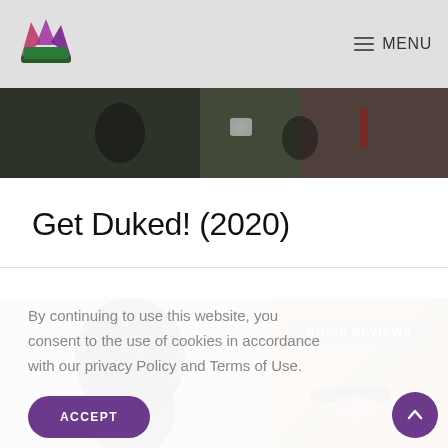MENU
[Figure (photo): Dark cinematic hero photo strip showing people in a scene]
Get Duked! (2020)
[Figure (photo): Movie scene photo split: person with dark curly hair on left, person holding a gun on the right over golden/brown landscape]
MOVIE REVIEWS
By continuing to use this website, you consent to the use of cookies in accordance with our privacy Policy and Terms of Use.
ACCEPT